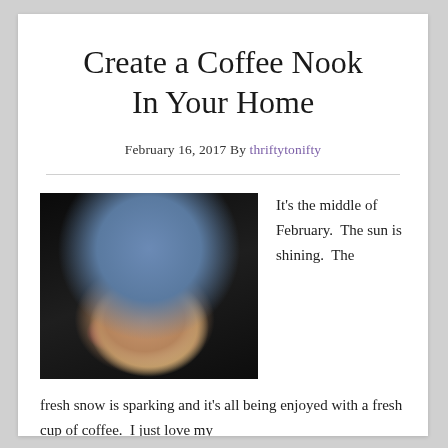Create a Coffee Nook In Your Home
February 16, 2017 By thriftytonifty
[Figure (photo): Person in a blue shirt holding a white coffee mug with latte art, photographed from chest down with dark moody background.]
It's the middle of February.  The sun is shining.  The fresh snow is sparking and it's all being enjoyed with a fresh cup of coffee.  I just love my